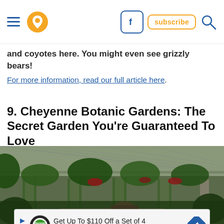[Navigation bar with hamburger menu, location pin icon, Facebook icon, subscribe button, search icon]
and coyotes here. You might even see grizzly bears!
For more information, read our full article here.
9. Cheyenne Botanic Gardens: The Secret Garden You're Guaranteed To Love
[Figure (photo): Interior of a large greenhouse/conservatory with lush tropical plants, hanging baskets with red flowers, stone columns covered in ivy, and a glass ceiling roof structure.]
[Figure (infographic): Advertisement banner: Get Up To $110 Off a Set of 4 Select Firestone Tires, with Discount Tire / Firestone logo and directional arrow icon.]